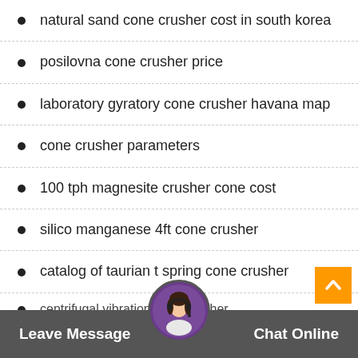natural sand cone crusher cost in south korea
posilovna cone crusher price
laboratory gyratory cone crusher havana map
cone crusher parameters
100 tph magnesite crusher cone cost
silico manganese 4ft cone crusher
catalog of taurian t spring cone crusher
centrifugal vibration cone crusher